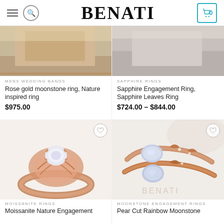BENATI
[Figure (photo): Cropped photo of a rose gold moonstone ring on a wooden background]
MENS WEDDING BANDS
Rose gold moonstone ring, Nature inspired ring
$975.00
[Figure (photo): Cropped photo of a sapphire leaves engagement ring on gray background]
SAPPHIRE RINGS
Sapphire Engagement Ring, Sapphire Leaves Ring
$724.00 – $844.00
[Figure (photo): Rose gold moissanite nature engagement ring with intricate leaf filigree band and round center stone on white background]
MOISSANITE RINGS
Moissanite Nature Engagement
[Figure (photo): Pear cut rainbow moonstone rings set in rose gold with leaf motifs on a cream background]
MOONSTONE ENGAGEMENT RINGS
Pear Cut Rainbow Moonstone